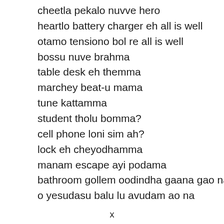cheetla pekalo nuvve hero
heartlo battery charger eh all is well
otamo tensiono bol re all is well
bossu nuve brahma
table desk eh themma
marchey beat-u mama
tune kattamma
student tholu bomma?
cell phone loni sim ah?
lock eh cheyodhamma
manam escape ayi podama
bathroom gollem oodindha gaana gao na
o yesudasu balu lu avudam ao na
x